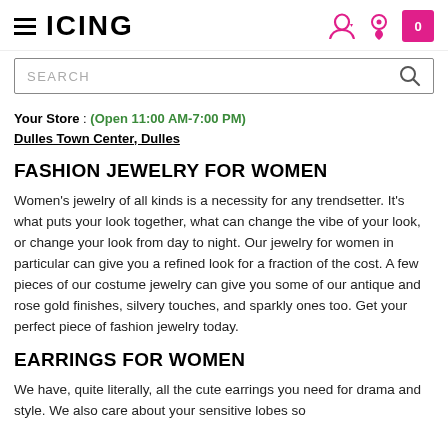ICING - navigation header with hamburger menu, logo, user icon, location icon, and shopping bag icon
SEARCH
Your Store : (Open 11:00 AM-7:00 PM) Dulles Town Center, Dulles
FASHION JEWELRY FOR WOMEN
Women's jewelry of all kinds is a necessity for any trendsetter. It's what puts your look together, what can change the vibe of your look, or change your look from day to night. Our jewelry for women in particular can give you a refined look for a fraction of the cost. A few pieces of our costume jewelry can give you some of our antique and rose gold finishes, silvery touches, and sparkly ones too. Get your perfect piece of fashion jewelry today.
EARRINGS FOR WOMEN
We have, quite literally, all the cute earrings you need for drama and style. We also care about your sensitive lobes so